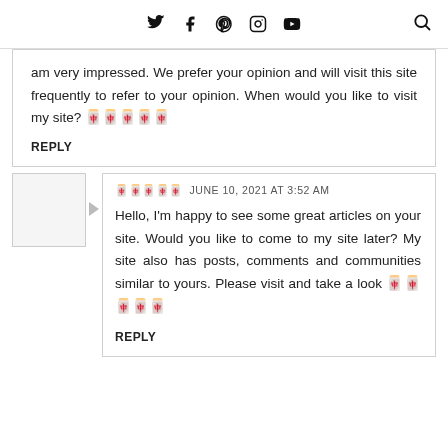Social media icons and search
am very impressed. We prefer your opinion and will visit this site frequently to refer to your opinion. When would you like to visit my site?      
Reply
      JUNE 10, 2021 AT 3:52 AM
Hello, I'm happy to see some great articles on your site. Would you like to come to my site later? My site also has posts, comments and communities similar to yours. Please visit and take a look      
Reply